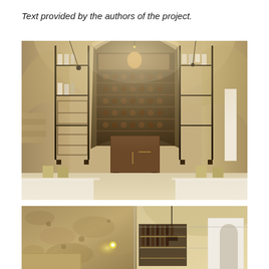Text provided by the authors of the project.
[Figure (photo): Interior of a historic stone-vaulted space converted into a wine cellar and dining area. Features warm sandstone arched ceilings, metal and wood shelving units holding bottles and ceramics, a central dark-wood cabinet, wine racks, hanging pendant lights, and dining tables in the foreground.]
[Figure (photo): Close-up detail of the same stone cave-like space showing rough sandstone walls and ceiling, modern glass partitions, illuminated wine display cabinet, and modern white architectural elements with an arched doorway.]